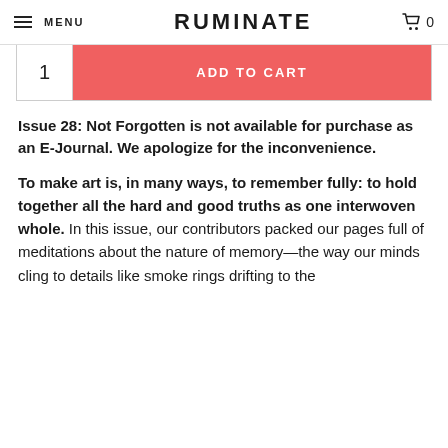MENU    RUMINATE    0
1   ADD TO CART
Issue 28: Not Forgotten is not available for purchase as an E-Journal. We apologize for the inconvenience.
To make art is, in many ways, to remember fully: to hold together all the hard and good truths as one interwoven whole. In this issue, our contributors packed our pages full of meditations about the nature of memory—the way our minds cling to details like smoke rings drifting to the